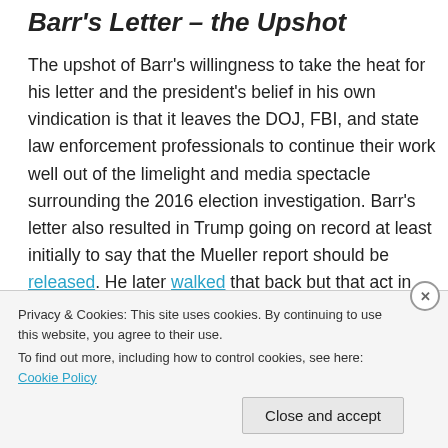Barr's Letter – the Upshot
The upshot of Barr's willingness to take the heat for his letter and the president's belief in his own vindication is that it leaves the DOJ, FBI, and state law enforcement professionals to continue their work well out of the limelight and media spectacle surrounding the 2016 election investigation. Barr's letter also resulted in Trump going on record at least initially to say that the Mueller report should be released. He later walked that back but that act in itself was politically bad for Trump.
Privacy & Cookies: This site uses cookies. By continuing to use this website, you agree to their use. To find out more, including how to control cookies, see here: Cookie Policy